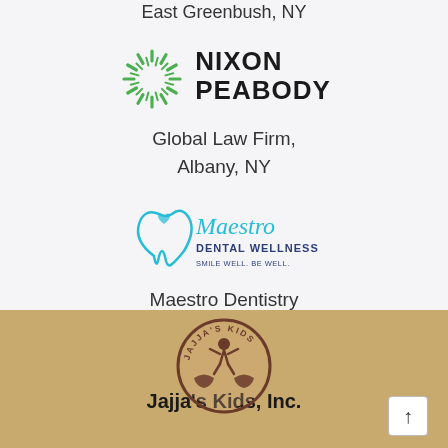East Greenbush, NY
[Figure (logo): Nixon Peabody logo: green starburst/sunburst icon on the left, bold black text 'NIXON PEABODY' on the right]
Global Law Firm,
Albany, NY
[Figure (logo): Maestro Dental Wellness logo: teal/cyan stylized tooth with heart, script 'Maestro' text in teal, 'DENTAL WELLNESS' in dark blue caps, tagline 'SMILE WELL. BE WELL.' below]
Maestro Dentistry
Albany, NY
[Figure (logo): Jajja's Kids Inc. circular logo: brown circle border with text 'JAJJA'S KIDS' at top, central figure of a person jumping with hands beneath, brown/earth tone colors]
Jajja's Kids, Inc.